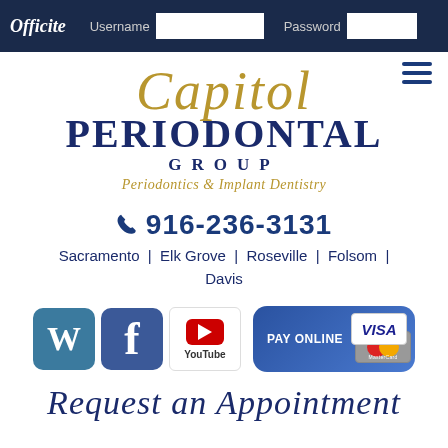Officite | Username | Password
[Figure (logo): Capitol Periodontal Group logo with script Capitol text in gold, PERIODONTAL in navy blue, GROUP in navy blue spaced letters, and tagline 'Periodontics & Implant Dentistry' in gold italic]
916-236-3131
Sacramento | Elk Grove | Roseville | Folsom | Davis
[Figure (infographic): Social media icons: WordPress, Facebook, YouTube, and Pay Online button with Visa and Mastercard credit card images]
Request an Appointment